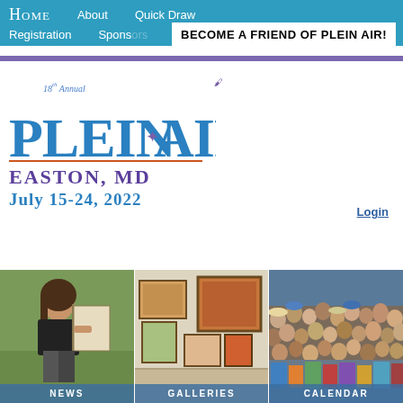Home  About  Quick Draw  Registration  Sponsors  BECOME A FRIEND OF PLEIN AIR!
[Figure (logo): 18th Annual Plein Air Easton MD logo with bird motif, July 15-24, 2022]
Login
[Figure (photo): Young woman painting outdoors labeled NEWS]
[Figure (photo): Gallery interior with framed paintings labeled GALLERIES]
[Figure (photo): Crowd of people at outdoor event labeled CALENDAR]